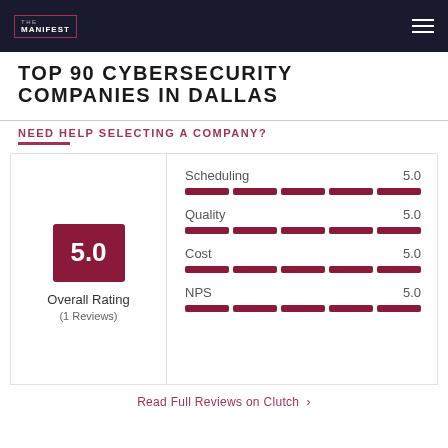THE MANIFEST
TOP 90 CYBERSECURITY COMPANIES IN DALLAS
NEED HELP SELECTING A COMPANY?
[Figure (infographic): Rating card showing Overall Rating of 5.0 (1 Reviews) with sub-ratings: Scheduling 5.0, Quality 5.0, Cost 5.0, NPS 5.0, each represented by filled bar segments]
Read Full Reviews on Clutch >